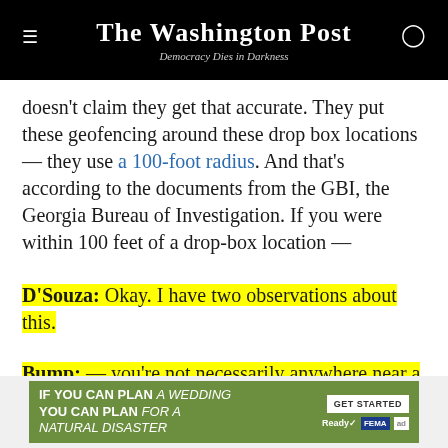The Washington Post — Democracy Dies in Darkness
doesn't claim they get that accurate. They put these geofencing around these drop box locations — they use a 100-foot radius. And that's according to the documents from the GBI, the Georgia Bureau of Investigation. If you were within 100 feet of a drop-box location —
D'Souza: Okay. I have two observations about this.
Bump: — you're not necessarily anywhere near a drop box.
[Figure (other): Advertisement: IF YOU CAN PLAN A WEDDING YOU CAN PLAN FOR A NATURAL DISASTER — Ready.gov / FEMA ad with GET STARTED button]